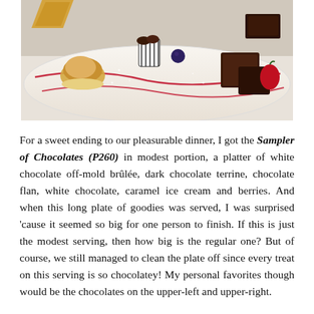[Figure (photo): A long white platter with an assortment of chocolate desserts including white chocolate off-mold brûlée, dark chocolate terrine, chocolate flan, caramel ice cream, and berries. The plate has red sauce drizzled across it. Visible items include a scoop of ice cream on a pastry base, chocolate truffles in a striped cup, blueberries, brownie-like dark chocolate pieces, and strawberries.]
For a sweet ending to our pleasurable dinner, I got the Sampler of Chocolates (P260) in modest portion, a platter of white chocolate off-mold brûlée, dark chocolate terrine, chocolate flan, white chocolate, caramel ice cream and berries. And when this long plate of goodies was served, I was surprised 'cause it seemed so big for one person to finish. If this is just the modest serving, then how big is the regular one? But of course, we still managed to clean the plate off since every treat on this serving is so chocolatey! My personal favorites though would be the chocolates on the upper-left and upper-right.